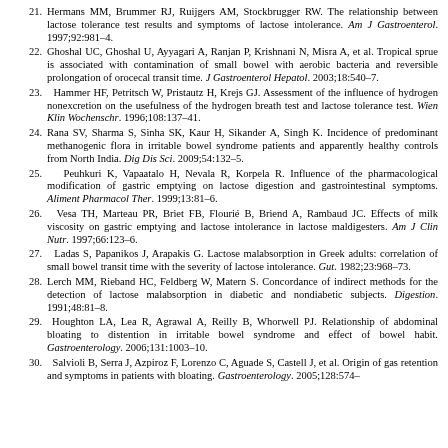21. Hermans MM, Brummer RJ, Ruijgers AM, Stockbrugger RW. The relationship between lactose tolerance test results and symptoms of lactose intolerance. Am J Gastroenterol. 1997;92:981–4.
22. Ghoshal UC, Ghoshal U, Ayyagari A, Ranjan P, Krishnani N, Misra A, et al. Tropical sprue is associated with contamination of small bowel with aerobic bacteria and reversible prolongation of orocecal transit time. J Gastroenterol Hepatol. 2003;18:540–7.
23. Hammer HF, Petritsch W, Pristautz H, Krejs GJ. Assessment of the influence of hydrogen nonexcretion on the usefulness of the hydrogen breath test and lactose tolerance test. Wien Klin Wochenschr. 1996;108:137–41.
24. Rana SV, Sharma S, Sinha SK, Kaur H, Sikander A, Singh K. Incidence of predominant methanogenic flora in irritable bowel syndrome patients and apparently healthy controls from North India. Dig Dis Sci. 2009;54:132–5.
25. Peuhkuri K, Vapaatalo H, Nevala R, Korpela R. Influence of the pharmacological modification of gastric emptying on lactose digestion and gastrointestinal symptoms. Aliment Pharmacol Ther. 1999;13:81–6.
26. Vesa TH, Marteau PR, Briet FB, Flourié B, Briend A, Rambaud JC. Effects of milk viscosity on gastric emptying and lactose intolerance in lactose maldigesters. Am J Clin Nutr. 1997;66:123–6.
27. Ladas S, Papanikos J, Arapakis G. Lactose malabsorption in Greek adults: correlation of small bowel transit time with the severity of lactose intolerance. Gut. 1982;23:968–73.
28. Lerch MM, Rieband HC, Feldberg W, Matern S. Concordance of indirect methods for the detection of lactose malabsorption in diabetic and nondiabetic subjects. Digestion. 1991;48:81–8.
29. Houghton LA, Lea R, Agrawal A, Reilly B, Whorwell PJ. Relationship of abdominal bloating to distention in irritable bowel syndrome and effect of bowel habit. Gastroenterology. 2006;131:1003–10.
30. Salvioli B, Serra J, Azpiroz F, Lorenzo C, Aguade S, Castell J, et al. Origin of gas retention and symptoms in patients with bloating. Gastroenterology. 2005;128:574–9.